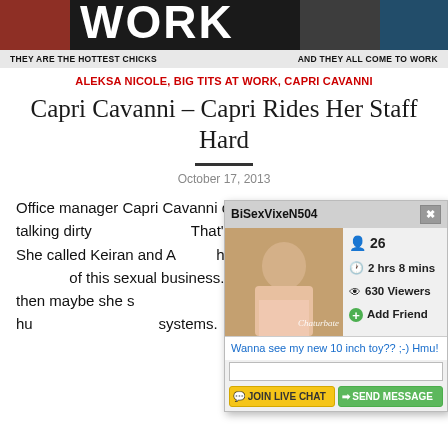[Figure (photo): Website banner header with bold text 'WORK' and images of women]
THEY ARE THE HOTTEST CHICKS    AND THEY ALL COME TO WORK
ALEKSA NICOLE, BIG TITS AT WORK, CAPRI CAVANNI
Capri Cavanni – Capri Rides Her Staff Hard
October 17, 2013
Office manager Capri Cavanni caught two of her employees talking dirty. That's just unacceptable. She called Keiran and A... have a little chat and se... of this sexual business. sluts, then maybe she s... threesome, and just hu... systems.
[Figure (screenshot): Chaturbate popup overlay showing BiSexVixeN504, age 26, 2 hrs 8 mins, 630 Viewers, Add Friend, chat input and buttons]